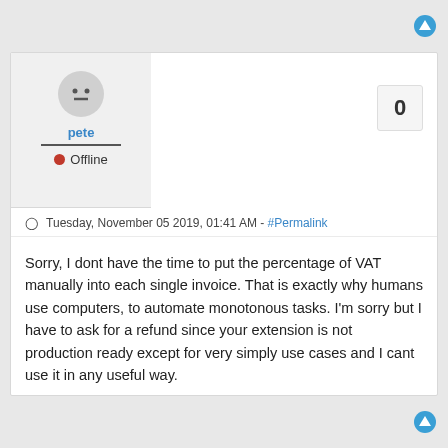[Figure (other): Up arrow icon (circle with upward arrow) in teal/blue color, top-right corner]
pete
● Offline
Tuesday, November 05 2019, 01:41 AM - #Permalink
Sorry, I dont have the time to put the percentage of VAT manually into each single invoice. That is exactly why humans use computers, to automate monotonous tasks. I'm sorry but I have to ask for a refund since your extension is not production ready except for very simply use cases and I cant use it in any useful way.
[Figure (other): Vote count box showing '0']
[Figure (other): Down arrow icon (circle with upward arrow) in teal/blue color, bottom-right corner]